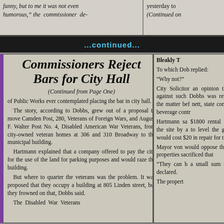funny, but to me it was not even humorous," the commissioner de-
yesterday to (Continued on
...continued...
Commissioners Reject Bars for City Hall
(Continued from Page One)
of Public Works ever contemplated placing the bar in city hall. The story, according to Dobbs, grew out of a proposal to move Camden Post, 280, Veterans of Foreign Wars, and August F. Walter Post No. 4, Disabled American War Veterans, from city-owned veteran homes at 306 and 310 Broadway to the municipal building. Hartmann explained that a company offered to pay the city for the use of the land for parking purposes and would raze the building. But where to quarter the veterans was the problem. It was proposed that they occupy a building at 805 Linden street, but they frowned on that, Dobbs said. The Disabled War Veterans
Bleakly T To which Dob replied: "Why not?" City Solicitor an opinion th against such Dobbs was rep the matter bef nett, state com beverage contr Hartmann sa $1800 rental a the site by a to level the gr would cost $20 in repair for t Mayor von would oppose the properties sacrificed that "They can b a small sum o declared. The propert